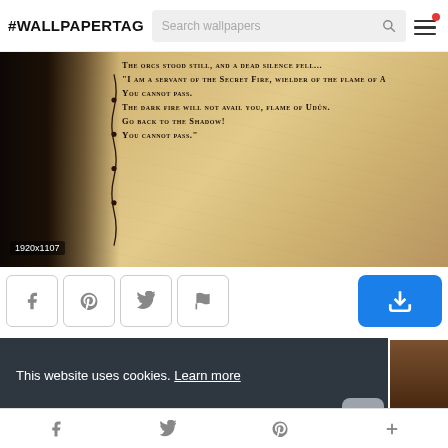#WALLPAPERTAG  Search wallpapers
[Figure (photo): Wallpaper image showing a dark fantasy silhouette on the left with a parchment-style background. A quote reads: 'The orcs stood still, and a dead silence fell... I am a servant of the Secret Fire, wielder of the flame of [Anor.] You cannot pass. The dark fire will not avail you, flame of Udûn. Go back to the Shadow! You cannot pass.' Dimension label shows 1920x1107.]
This website uses cookies. Learn more
Got it!